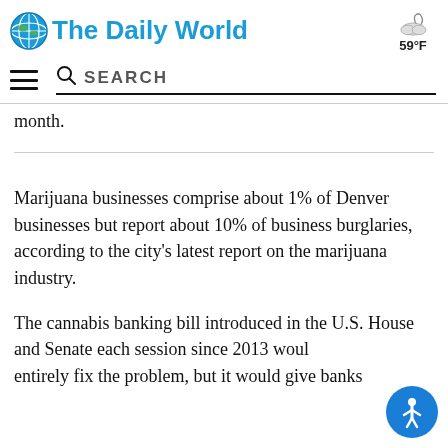The Daily World | 59°F
month.
Marijuana businesses comprise about 1% of Denver businesses but report about 10% of business burglaries, according to the city's latest report on the marijuana industry.
The cannabis banking bill introduced in the U.S. House and Senate each session since 2013 would entirely fix the problem, but it would give banks